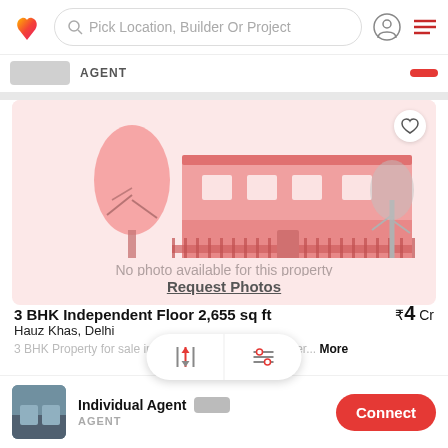Pick Location, Builder Or Project
[Figure (screenshot): No photo available for this property placeholder image with pink building illustration]
No photo available for this property
Request Photos
3 BHK Independent Floor 2,655 sq ft
₹4 Cr
Hauz Khas, Delhi
3 BHK Property for sale in ... A 3 bhk proper... More
Individual Agent
AGENT
Connect